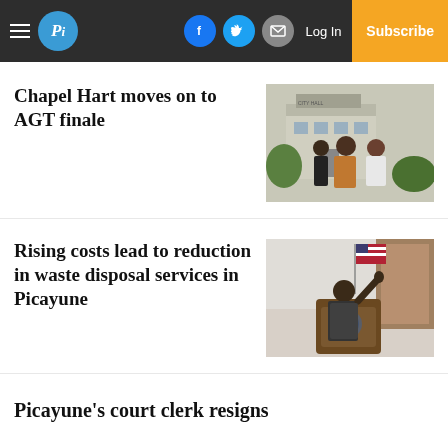Picayune Item — Log In | Subscribe
Chapel Hart moves on to AGT finale
[Figure (photo): Three women posing outside a City Hall building]
Rising costs lead to reduction in waste disposal services in Picayune
[Figure (photo): A woman speaking or gesturing at a podium with an American flag in the background]
Picayune's court clerk resigns